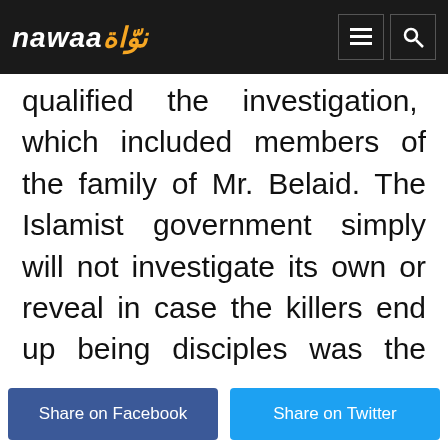nawaa (logo)
qualified the investigation, which included members of the family of Mr. Belaid. The Islamist government simply will not investigate its own or reveal in case the killers end up being disciples was the argument of the protesters. Disillusionment at government institutions runs deep in Tunisia, especially when it comes to the Interior and Justice ministries.
Share on Facebook | Share on Twitter